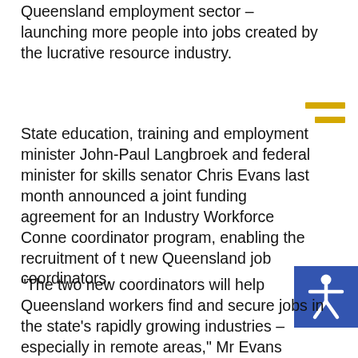Queensland employment sector – launching more people into jobs created by the lucrative resource industry.
State education, training and employment minister John-Paul Langbroek and federal minister for skills senator Chris Evans last month announced a joint funding agreement for an Industry Workforce Connections coordinator program, enabling the recruitment of two new Queensland job coordinators.
"The two new coordinators will help Queensland workers find and secure jobs in the state's rapidly growing industries – especially in remote areas," Mr Evans explained.
"These appointments will benefit Queensland workers, major Queensland resource and infrastructure projects, as well as the state economy."